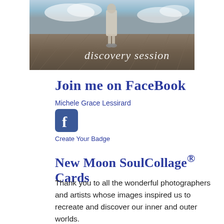[Figure (photo): A child standing on a wooden deck floor with a cloudy sky background; white italic script text reads 'discovery session']
Join me on FaceBook
Michele Grace Lessirard
[Figure (logo): Facebook 'f' logo icon — white letter f on blue rounded square background]
Create Your Badge
New Moon SoulCollage® Cards
Thank you to all the wonderful photographers and artists whose images inspired us to recreate and discover our inner and outer worlds.